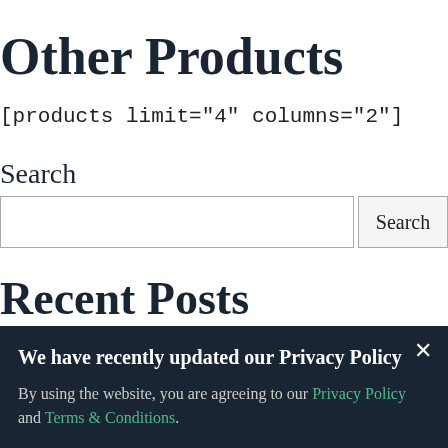Other Products
[products limit="4" columns="2"]
Search
Search input and button
Recent Posts
We have recently updated our Privacy Policy
By using the website, you are agreeing to our Privacy Policy and Terms & Conditions.